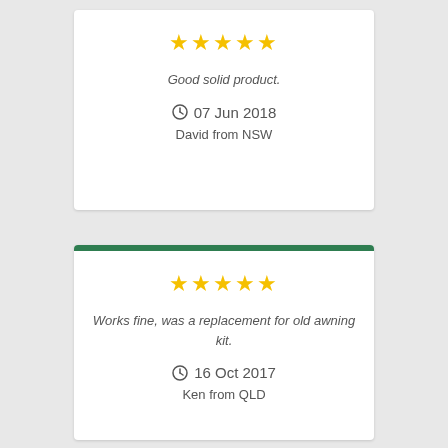★★★★★
Good solid product.
⊙ 07 Jun 2018
David from NSW
★★★★★
Works fine, was a replacement for old awning kit.
⊙ 16 Oct 2017
Ken from QLD